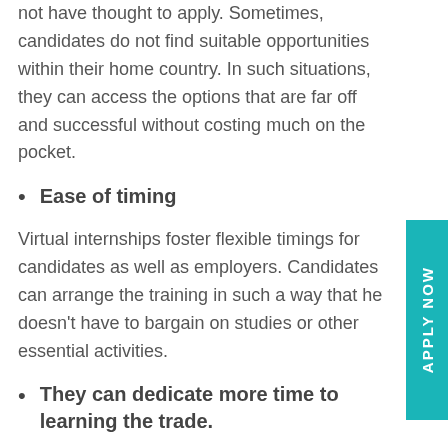not have thought to apply. Sometimes, candidates do not find suitable opportunities within their home country. In such situations, they can access the options that are far off and successful without costing much on the pocket.
Ease of timing
Virtual internships foster flexible timings for candidates as well as employers. Candidates can arrange the training in such a way that he doesn't have to bargain on studies or other essential activities.
They can dedicate more time to learning the trade.
Virtual internships cut down the travelling and extra time wasted on other activities. Candidates can utilise this saved time to learn